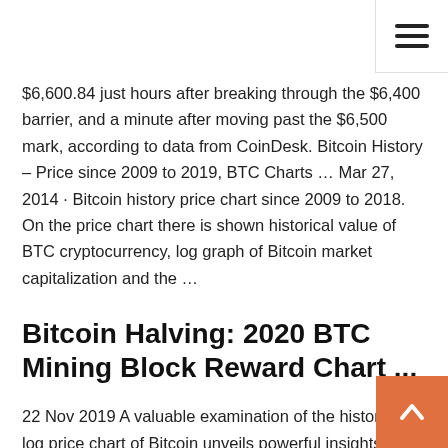$6,600.84 just hours after breaking through the $6,400 barrier, and a minute after moving past the $6,500 mark, according to data from CoinDesk. Bitcoin History – Price since 2009 to 2019, BTC Charts … Mar 27, 2014 · Bitcoin history price chart since 2009 to 2018. On the price chart there is shown historical value of BTC cryptocurrency, log graph of Bitcoin market capitalization and the …
Bitcoin Halving: 2020 BTC Mining Block Reward Chart ...
22 Nov 2019 A valuable examination of the historical log price chart of Bitcoin unveils powerful insights that helps us make sense of the current price trend. Chart and download live crypto currency data like price, market capitalization, supply and trade volume. View in US Historical data since 2009. 1 Bitcoin ( BTC), $7,165.66,